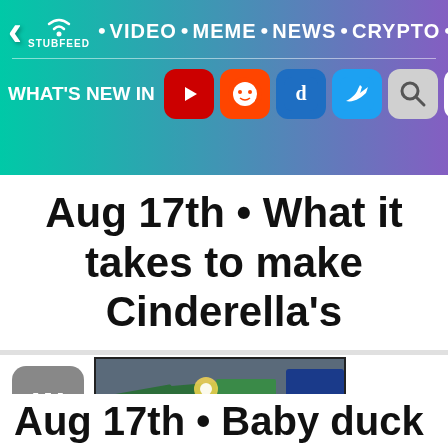[Figure (screenshot): StubFeed website navigation bar with gradient teal-to-purple background. Top row has back arrow, StubFeed logo with wifi icon, and nav links: VIDEO, MEME, NEWS, CRYPTO, hamburger menu. Bottom row shows WHAT'S NEW IN followed by social media icons: YouTube, Reddit, Digg, Twitter, Search, and Google Translate.]
Aug 17th • What it takes to make Cinderella's
[Figure (photo): Article thumbnail showing metal fabrication equipment with sparks/light, green metal pieces arranged at angles on a dark background. Small 'W' badge icon on the left.]
Aug 17th • Baby duck